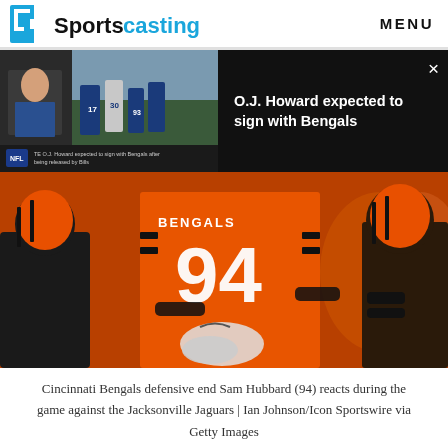Sportscasting  MENU
[Figure (screenshot): Video thumbnail showing a news broadcast with NFL footage and text 'TE O.J. Howard expected to sign with Bengals after being released by Bills']
O.J. Howard expected to sign with Bengals
[Figure (photo): Cincinnati Bengals defensive end Sam Hubbard wearing number 94 orange jersey, reacting during a game against the Jacksonville Jaguars]
Cincinnati Bengals defensive end Sam Hubbard (94) reacts during the game against the Jacksonville Jaguars | Ian Johnson/Icon Sportswire via Getty Images